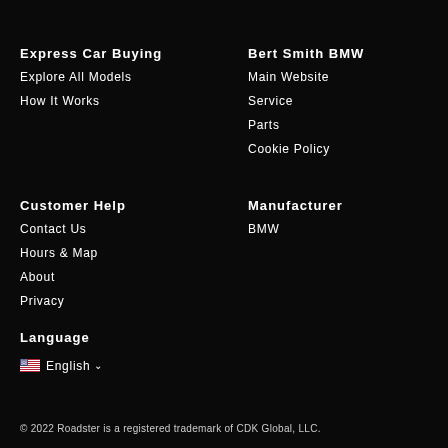Express Car Buying
Explore All Models
How It Works
Bert Smith BMW
Main Website
Service
Parts
Cookie Policy
Customer Help
Contact Us
Hours & Map
About
Privacy
Manufacturer
BMW
Language
English
© 2022 Roadster is a registered trademark of CDK Global, LLC.